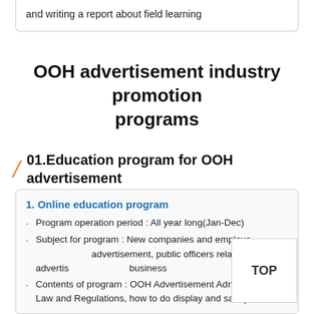and writing a report about field learning
OOH advertisement industry promotion programs
01.Education program for OOH advertisement
1. Online education program
Program operation period : All year long(Jan-Dec)
Subject for program : New companies and employees related OOH advertisement, public officers related OOH advertisement business
Contents of program : OOH Advertisement Administration Law and Regulations, how to do display and safety check